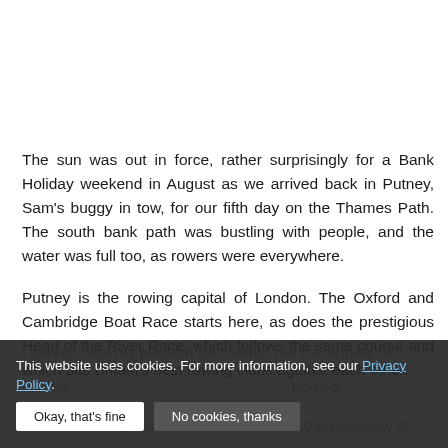The sun was out in force, rather surprisingly for a Bank Holiday weekend in August as we arrived back in Putney, Sam's buggy in tow, for our fifth day on the Thames Path. The south bank path was bustling with people, and the water was full too, as rowers were everywhere.
Putney is the rowing capital of London. The Oxford and Cambridge Boat Race starts here, as does the prestigious Head of the River Race, which follows the same course and which pits Britain's best rowing clubs against each other.
I cannot hide my passion for rowing, nor the appeal of rowing... here; a conclusion firmly reached during my time at the University of...
This website uses cookies. For more information, see our Privacy Policy. [Okay, that's fine] [No cookies, thanks]